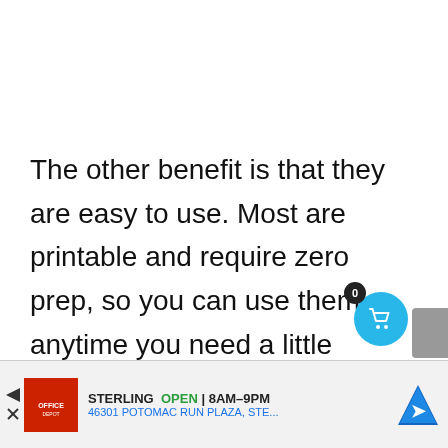The other benefit is that they are easy to use. Most are printable and require zero prep, so you can use them anytime you need a little something extra. We hope the list above helps you discover additional resources to add to your teaching plans. Happy teaching!
[Figure (other): Shopping cart button icon with badge showing 0, cyan circular button with cart icon]
[Figure (other): Advertisement banner for Office Depot Sterling location, OPEN 8AM-9PM, 46301 POTOMAC RUN PLAZA, STE...]